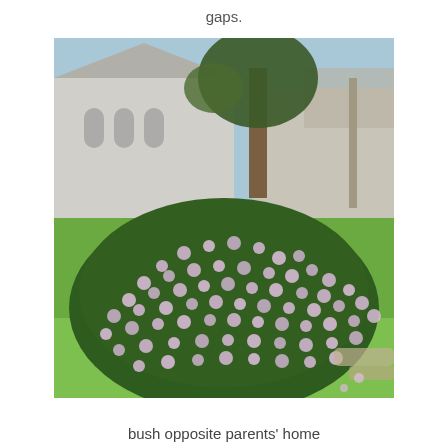gaps.
[Figure (photo): A large dome-shaped bush covered in pale pink/lavender daisy-like flowers, set in a garden lawn in front of a house with white walls and a corrugated roof. Trees visible in background.]
bush opposite parents' home